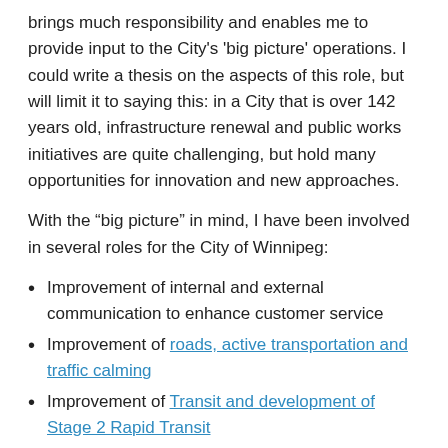brings much responsibility and enables me to provide input to the City's 'big picture' operations. I could write a thesis on the aspects of this role, but will limit it to saying this: in a City that is over 142 years old, infrastructure renewal and public works initiatives are quite challenging, but hold many opportunities for innovation and new approaches.
With the “big picture” in mind, I have been involved in several roles for the City of Winnipeg:
Improvement of internal and external communication to enhance customer service
Improvement of roads, active transportation and traffic calming
Improvement of Transit and development of Stage 2 Rapid Transit
Sustainability at Brady Road Resource Management Facility